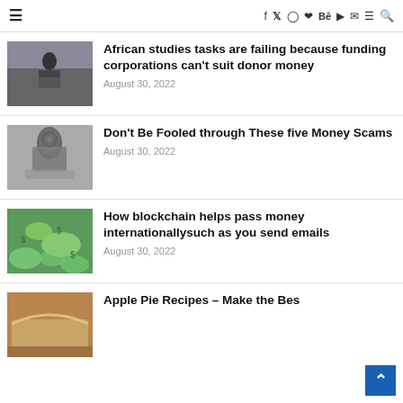≡  f  𝕏  ◎  𝒫  Bē  ▶  ✉  ≡  🔍
[Figure (photo): Crowd scene with person on stage]
African studies tasks are failing because funding corporations can't suit donor money
August 30, 2022
[Figure (photo): Hooded figure at laptop in dark, hacker image]
Don't Be Fooled through These five Money Scams
August 30, 2022
[Figure (photo): Green background with flying dollar bills]
How blockchain helps pass money internationallysuch as you send emails
August 30, 2022
[Figure (photo): Apple pie food photo]
Apple Pie Recipes – Make the Bes